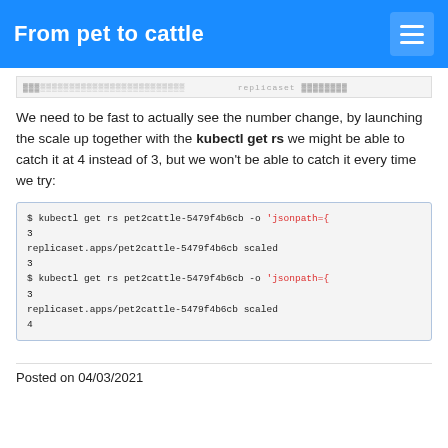From pet to cattle
We need to be fast to actually see the number change, by launching the scale up together with the kubectl get rs we might be able to catch it at 4 instead of 3, but we won't be able to catch it every time we try:
$ kubectl get rs pet2cattle-5479f4b6cb -o 'jsonpath={
3
replicaset.apps/pet2cattle-5479f4b6cb scaled
3
$ kubectl get rs pet2cattle-5479f4b6cb -o 'jsonpath={
3
replicaset.apps/pet2cattle-5479f4b6cb scaled
4
Posted on 04/03/2021